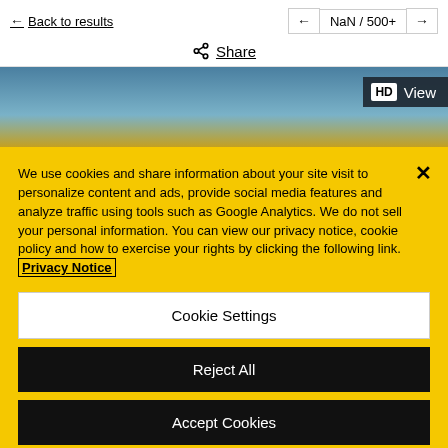← Back to results    ← NaN / 500+ →
Share
[Figure (screenshot): Partial image band showing sky and yellow area with HD View badge in top-right corner]
We use cookies and share information about your site visit to personalize content and ads, provide social media features and analyze traffic using tools such as Google Analytics. We do not sell your personal information. You can view our privacy notice, cookie policy and how to exercise your rights by clicking the following link. Privacy Notice
Cookie Settings
Reject All
Accept Cookies